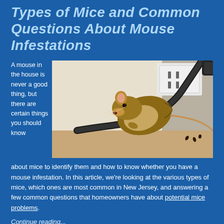Types of Mice and Common Questions About Mouse Infestations
A mouse in the house is never a good thing, but there are certain things you should know about mice to identify them and how to know whether you have a mouse infestation. In this article, we're looking at the various types of mice, which ones are most common in New Jersey, and answering a few common questions that homeowners have about potential mice problems.
[Figure (photo): Close-up photo of a brown mouse chewing on a black electrical cable near a white wall and electrical outlet]
Continue reading...